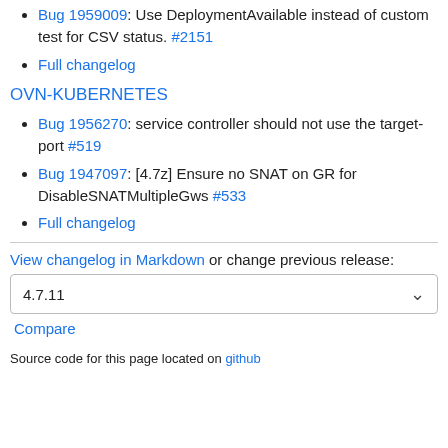Bug 1959009: Use DeploymentAvailable instead of custom test for CSV status. #2151
Full changelog
OVN-KUBERNETES
Bug 1956270: service controller should not use the target-port #519
Bug 1947097: [4.7z] Ensure no SNAT on GR for DisableSNATMultipleGws #533
Full changelog
View changelog in Markdown or change previous release:
4.7.11
Compare
Source code for this page located on github